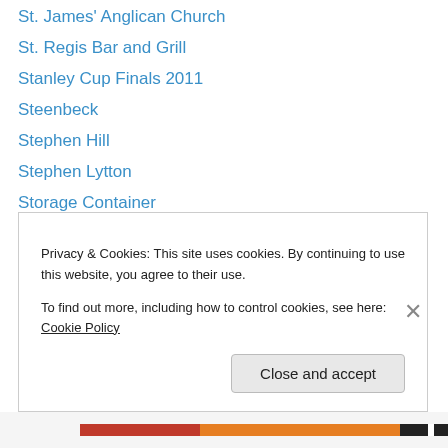St. James' Anglican Church
St. Regis Bar and Grill
Stanley Cup Finals 2011
Steenbeck
Stephen Hill
Stephen Lytton
Storage Container
Story Box Project
Storyeum
Strathcona
Strathcona BIA
Street life
Street Market
Street Performance
Privacy & Cookies: This site uses cookies. By continuing to use this website, you agree to their use.
To find out more, including how to control cookies, see here: Cookie Policy